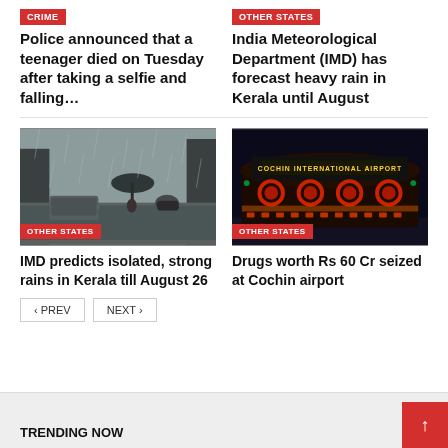CRIME
Police announced that a teenager died on Tuesday after taking a selfie and falling…
OTHER STATES
India Meteorological Department (IMD) has forecast heavy rain in Kerala until August
[Figure (photo): People in heavy rain on a road, cars with headlights visible in foggy rainy conditions]
OTHER STATES
IMD predicts isolated, strong rains in Kerala till August 26
[Figure (photo): Cochin International Airport building lit up at night with red and yellow lights]
OTHER STATES
Drugs worth Rs 60 Cr seized at Cochin airport
TRENDING NOW